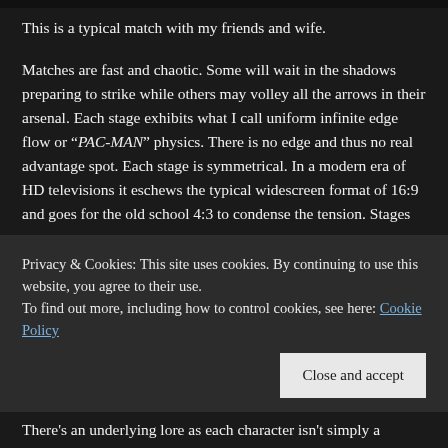[Figure (screenshot): Dark top bar / image strip at top of page]
This is a typical match with my friends and wife.
Matches are fast and chaotic. Some will wait in the shadows preparing to strike while others may volley all the arrows in their arsenal. Each stage exhibits what I call uniform infinite edge flow or "PAC-MAN" physics. There is no edge and thus no real advantage spot. Each stage is symmetrical. In a modern era of HD televisions it eschews the typical widescreen format of 16:9 and goes for the old school 4:3 to condense the tension. Stages
Privacy & Cookies: This site uses cookies. By continuing to use this website, you agree to their use.
To find out more, including how to control cookies, see here: Cookie Policy
Close and accept
There's an underlying lore as each character isn't simply a